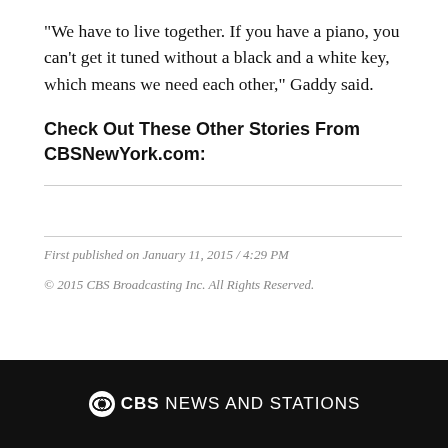"We have to live together. If you have a piano, you can't get it tuned without a black and a white key, which means we need each other," Gaddy said.
Check Out These Other Stories From CBSNewYork.com:
First published on January 11, 2015 / 4:29 PM
© 2015 CBS Broadcasting Inc. All Rights Reserved.
CBS NEWS AND STATIONS